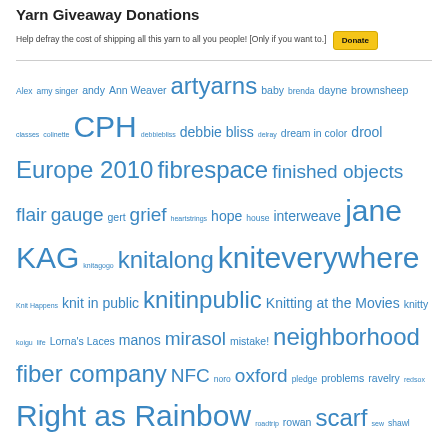Yarn Giveaway Donations
Help defray the cost of shipping all this yarn to all you people! [Only if you want to.]
[Figure (other): PayPal Donate button (yellow)]
Alex amy singer andy Ann Weaver artyarns baby brenda dayne brownsheep classes colinette CPH debbiebliss debbie bliss delray dream in color drool Europe 2010 fibrespace finished objects flair gauge gert grief heartstrings hope house interweave jane KAG knitagogo knitalong kniteverywhere Knit Happens knit in public knitinpublic Knitting at the Movies knitty koigu life Lorna's Laces manos mirasol mistake! neighborhood fiber company NFC noro oxford pledge problems ravelry redsox Right as Rainbow roadtrip rowan scarf sew shawl